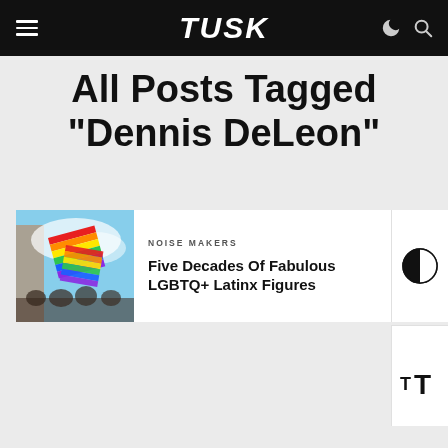TUSK
All Posts Tagged "Dennis DeLeon"
[Figure (photo): Photo of colorful LGBTQ+ pride flags being waved at a street event with people in the background]
NOISE MAKERS
Five Decades Of Fabulous LGBTQ+ Latinx Figures